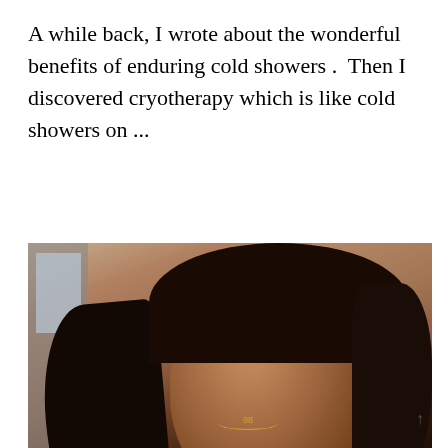A while back, I wrote about the wonderful benefits of enduring cold showers .  Then I discovered cryotherapy which is like cold showers on ...
READ MORE
[Figure (photo): Portrait photo of a young woman with long dark hair, visible makeup including bold eyebrows, wearing a necklace with a charm, selfie-style photo taken indoors with a building visible in background.]